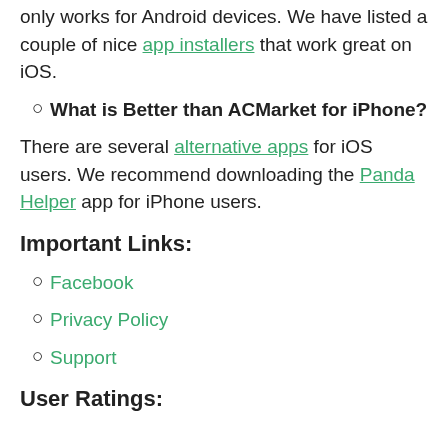There are several alternatives to download free apps and tweaks on the iPhone since ACMarket only works for Android devices. We have listed a couple of nice app installers that work great on iOS.
What is Better than ACMarket for iPhone?
There are several alternative apps for iOS users. We recommend downloading the Panda Helper app for iPhone users.
Important Links:
Facebook
Privacy Policy
Support
User Ratings: